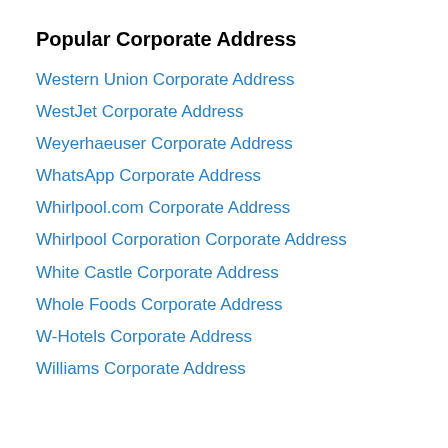Popular Corporate Address
Western Union Corporate Address
WestJet Corporate Address
Weyerhaeuser Corporate Address
WhatsApp Corporate Address
Whirlpool.com Corporate Address
Whirlpool Corporation Corporate Address
White Castle Corporate Address
Whole Foods Corporate Address
W-Hotels Corporate Address
Williams Corporate Address